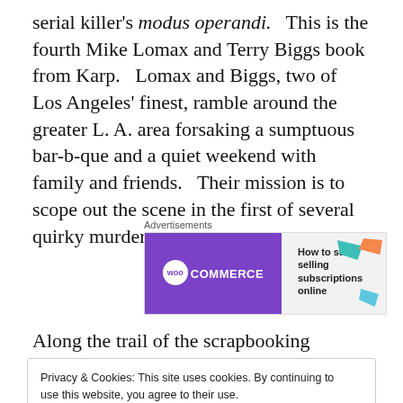serial killer's modus operandi.   This is the fourth Mike Lomax and Terry Biggs book from Karp.   Lomax and Biggs, two of Los Angeles' finest, ramble around the greater L. A. area forsaking a sumptuous bar-b-que and a quiet weekend with family and friends.   Their mission is to scope out the scene in the first of several quirky murders.
[Figure (other): WooCommerce advertisement banner: purple left panel with WooCommerce logo and teal arrow, right panel with text 'How to start selling subscriptions online' and decorative shapes in teal, orange, and blue.]
Along the trail of the scrapbooking murderer, the cops
Privacy & Cookies: This site uses cookies. By continuing to use this website, you agree to their use.
To find out more, including how to control cookies, see here: Cookie Policy